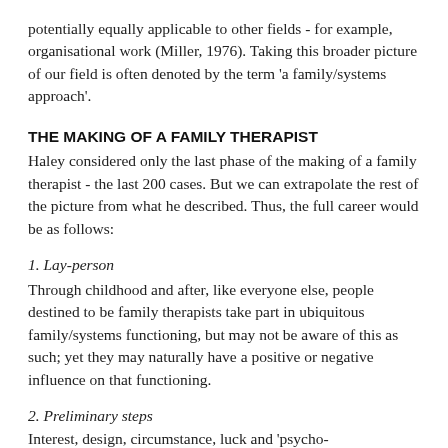potentially equally applicable to other fields - for example, organisational work (Miller, 1976). Taking this broader picture of our field is often denoted by the term 'a family/systems approach'.
THE MAKING OF A FAMILY THERAPIST
Haley considered only the last phase of the making of a family therapist - the last 200 cases. But we can extrapolate the rest of the picture from what he described. Thus, the full career would be as follows:
1. Lay-person
Through childhood and after, like everyone else, people destined to be family therapists take part in ubiquitous family/systems functioning, but may not be aware of this as such; yet they may naturally have a positive or negative influence on that functioning.
2. Preliminary steps
Interest, design, circumstance, luck and 'psycho-